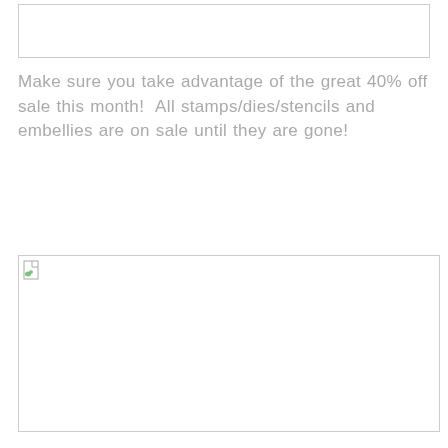[Figure (other): Empty bordered box at top of page]
Make sure you take advantage of the great 40% off sale this month!  All stamps/dies/stencils and embellies are on sale until they are gone!
[Figure (other): Broken image placeholder with small icon in top-left, bordered rectangle]